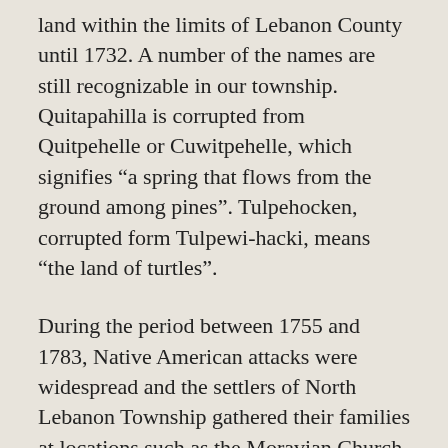land within the limits of Lebanon County until 1732. A number of the names are still recognizable in our township. Quitapahilla is corrupted from Quitpehelle or Cuwitpehelle, which signifies “a spring that flows from the ground among pines”. Tulpehocken, corrupted form Tulpewi-hacki, means “the land of turtles”.
During the period between 1755 and 1783, Native American attacks were widespread and the settlers of North Lebanon Township gathered their families at locations such as the Moravian Church at Hebron. A 1756 skirmish in the Weavertown-Kimmerlings area resulted in the death of 2 Native